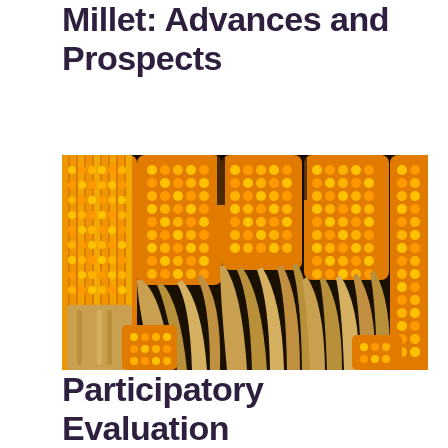Millet: Advances and Prospects
[Figure (photo): Close-up photograph of multiple dried corn cobs with golden-yellow kernels and dried husks, arranged densely together]
Participatory Evaluation